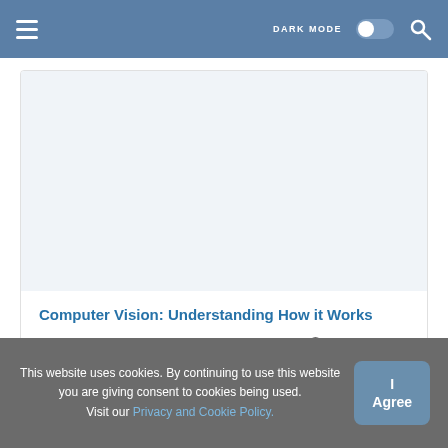DARK MODE  [toggle]  [search]
Computer Vision: Understanding How it Works
🏷 Tech | Computer    🕐 17, Aug 2021
This website uses cookies. By continuing to use this website you are giving consent to cookies being used. Visit our Privacy and Cookie Policy.